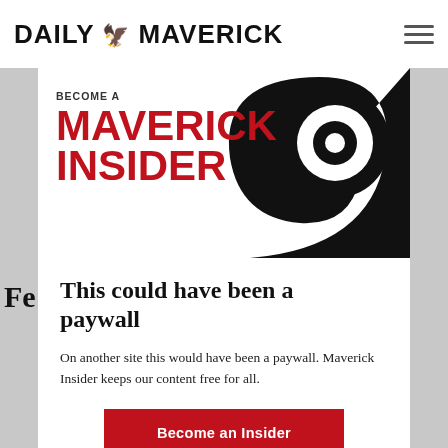DAILY MAVERICK
[Figure (logo): Become a Maverick Insider promotional banner with red bold text on white background and black swirl graphic on right side]
This could have been a paywall
On another site this would have been a paywall. Maverick Insider keeps our content free for all.
Become an Insider
Already an Insider? Click here to log in.